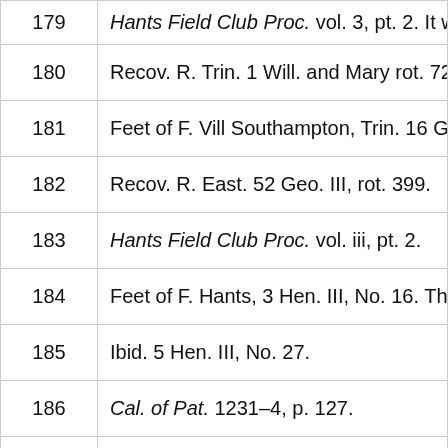| No. | Reference |
| --- | --- |
| 179 | Hants Field Club Proc. vol. 3, pt. 2. It was |
| 180 | Recov. R. Trin. 1 Will. and Mary rot. 72. |
| 181 | Feet of F. Vill Southampton, Trin. 16 Ge |
| 182 | Recov. R. East. 52 Geo. III, rot. 399. |
| 183 | Hants Field Club Proc. vol. iii, pt. 2. |
| 184 | Feet of F. Hants, 3 Hen. III, No. 16. This |
| 185 | Ibid. 5 Hen. III, No. 27. |
| 186 | Cal. of Pat. 1231–4, p. 127. |
| 187 | Excerpta e Rot. Fin. (Rec. Com.), i, 358. |